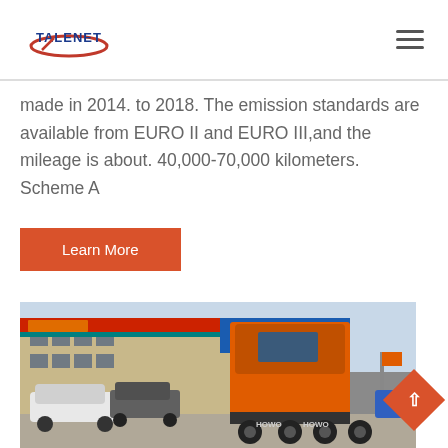TALENET
made in 2014. to 2018. The emission standards are available from EURO II and EURO III,and the mileage is about. 40,000-70,000 kilometers. Scheme A
Learn More
[Figure (photo): Rear view of an orange HOWO truck in a parking lot in front of a commercial building with Chinese signage. Other vehicles visible in background.]